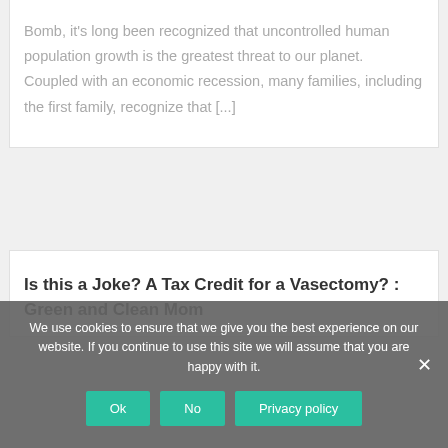Bomb, it's long been recognized that uncontrolled human population growth is the greatest threat to our planet.  Coupled with an economic recession, many families, including the first family, recognize that [...]
Is this a Joke? A Tax Credit for a Vasectomy? : Green and Clean Mom
We use cookies to ensure that we give you the best experience on our website. If you continue to use this site we will assume that you are happy with it.